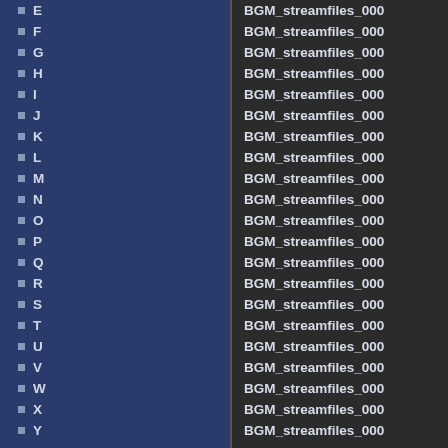E
F
G
H
I
J
K
L
M
N
O
P
Q
R
S
T
U
V
W
X
Y
BGM_streamfiles_000
BGM_streamfiles_000
BGM_streamfiles_000
BGM_streamfiles_000
BGM_streamfiles_000
BGM_streamfiles_000
BGM_streamfiles_000
BGM_streamfiles_000
BGM_streamfiles_000
BGM_streamfiles_000
BGM_streamfiles_000
BGM_streamfiles_000
BGM_streamfiles_000
BGM_streamfiles_000
BGM_streamfiles_000
BGM_streamfiles_000
BGM_streamfiles_000
BGM_streamfiles_000
BGM_streamfiles_000
BGM_streamfiles_000
BGM_streamfiles_000